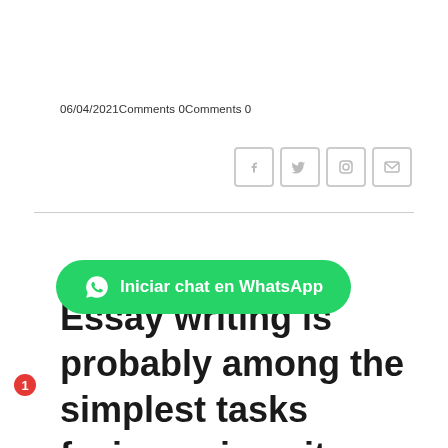06/04/2021Comments 0Comments 0
[Figure (other): Social media icons: Facebook, Twitter, Instagram, Email]
Essay writing is probably among the simplest tasks facing university students.
[Figure (other): Green WhatsApp chat button with label 'Iniciar chat en WhatsApp' and red badge showing number 1]